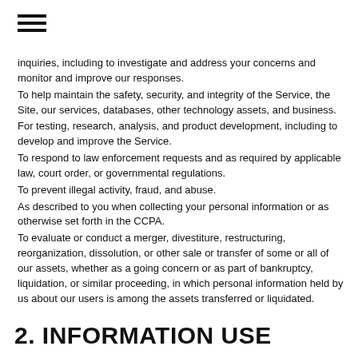[Figure (other): Hamburger menu icon (three horizontal lines)]
inquiries, including to investigate and address your concerns and monitor and improve our responses.
To help maintain the safety, security, and integrity of the Service, the Site, our services, databases, other technology assets, and business.
For testing, research, analysis, and product development, including to develop and improve the Service.
To respond to law enforcement requests and as required by applicable law, court order, or governmental regulations.
To prevent illegal activity, fraud, and abuse.
As described to you when collecting your personal information or as otherwise set forth in the CCPA.
To evaluate or conduct a merger, divestiture, restructuring, reorganization, dissolution, or other sale or transfer of some or all of our assets, whether as a going concern or as part of bankruptcy, liquidation, or similar proceeding, in which personal information held by us about our users is among the assets transferred or liquidated.
2. INFORMATION USE